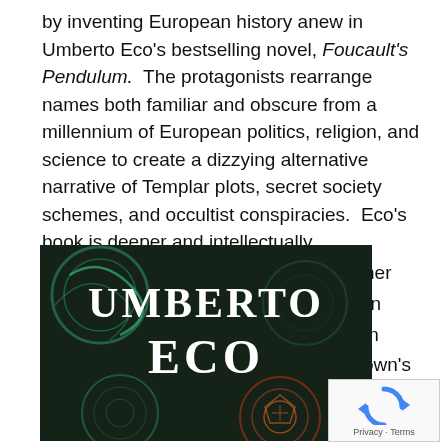by inventing European history anew in Umberto Eco's bestselling novel, Foucault's Pendulum.  The protagonists rearrange names both familiar and obscure from a millennium of European politics, religion, and science to create a dizzying alternative narrative of Templar plots, secret society schemes, and occultist conspiracies.  Eco's book is deeper and intellectually richer than Dan Brown's
[Figure (photo): Book cover showing 'Umberto Eco' title text in white ornate lettering on a dark teal/black background with circular decorative motifs]
[Figure (other): reCAPTCHA widget with rotating arrows logo and Privacy/Terms links]